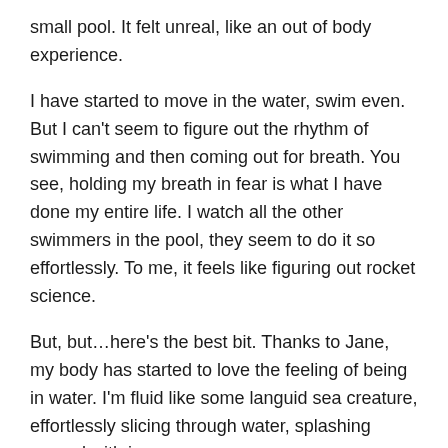small pool. It felt unreal, like an out of body experience.
I have started to move in the water, swim even. But I can't seem to figure out the rhythm of swimming and then coming out for breath. You see, holding my breath in fear is what I have done my entire life. I watch all the other swimmers in the pool, they seem to do it so effortlessly. To me, it feels like figuring out rocket science.
But, but…here's the best bit. Thanks to Jane, my body has started to love the feeling of being in water. I'm fluid like some languid sea creature, effortlessly slicing through water, splashing around with joy.
Like an Indian mermaid finally at peace, deep in the ocean floor. The world of pain and panic high above her, not really touching her.